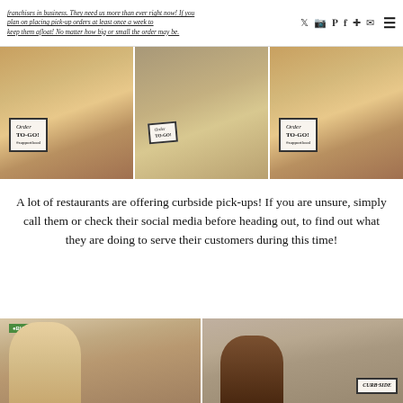franchises in business. They need us more than ever right now! If you plan on placing pick-up orders at least once a week to keep them afloat! No matter how big or small the order may be.
[Figure (photo): Three-panel photo collage of a woman in a colorful floral outfit holding a handwritten sign reading 'Order TO-GO! #supportlocal' in front of a restaurant entrance.]
A lot of restaurants are offering curbside pick-ups! If you are unsure, simply call them or check their social media before heading out, to find out what they are doing to serve their customers during this time!
[Figure (photo): Two-panel photo collage: left shows a blonde woman in a white outfit and tan hat standing in front of a BurgerFi restaurant; right shows a woman in a car holding a sign reading 'CURBSIDE'.]